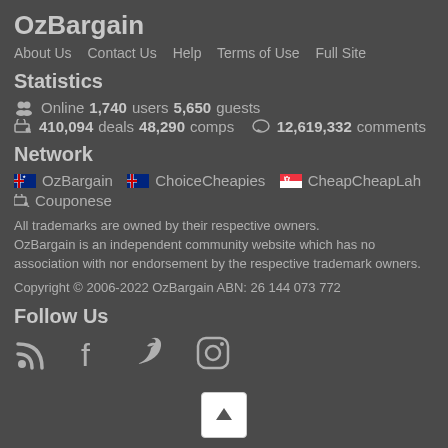OzBargain
About Us   Contact Us   Help   Terms of Use   Full Site
Statistics
Online 1,740 users 5,650 guests
410,094 deals 48,290 comps   12,619,332 comments
Network
OzBargain   ChoiceCheapies   CheapCheapLah
Couponese
All trademarks are owned by their respective owners. OzBargain is an independent community website which has no association with nor endorsement by the respective trademark owners.
Copyright © 2006-2022 OzBargain ABN: 26 144 073 772
Follow Us
[Figure (other): Social media icons: RSS, Facebook, Twitter, Instagram]